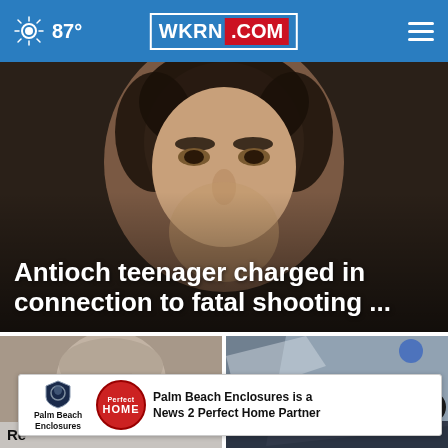WKRN.COM — 87°
[Figure (photo): Close-up mugshot photo of an Antioch teenager, cropped to show face against dark background]
Antioch teenager charged in connection to fatal shooting ...
[Figure (photo): Mugshot of a bald middle-aged man — partial caption beginning with 'Re...']
[Figure (photo): Image of a Tennessee law enforcement vehicle/document with partial text 'TENNESS']
Palm Beach Enclosures is a News 2 Perfect Home Partner